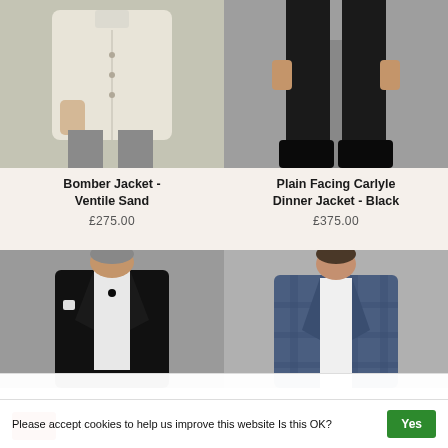[Figure (photo): Male model wearing cream/sand bomber jacket with grey trousers, grey background]
[Figure (photo): Male model in black dinner suit and black shoes, grey background, lower body visible]
Bomber Jacket - Ventile Sand
£275.00
Plain Facing Carlyle Dinner Jacket - Black
£375.00
[Figure (photo): Older male model in black tuxedo with bow tie, grey background]
[Figure (photo): Male model wearing blue check suit jacket, light background]
Please accept cookies to help us improve this website Is this OK?
Yes
No
More on cookies »